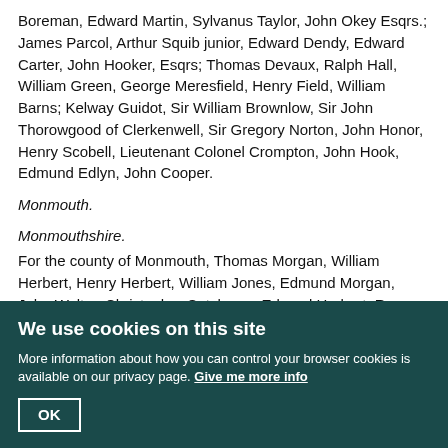Boreman, Edward Martin, Sylvanus Taylor, John Okey Esqrs.; James Parcol, Arthur Squib junior, Edward Dendy, Edward Carter, John Hooker, Esqrs; Thomas Devaux, Ralph Hall, William Green, George Meresfield, Henry Field, William Barns; Kelway Guidot, Sir William Brownlow, Sir John Thorowgood of Clerkenwell, Sir Gregory Norton, John Honor, Henry Scobell, Lieutenant Colonel Crompton, John Hook, Edmund Edlyn, John Cooper.
Monmouth.
Monmouthshire.
For the county of Monmouth, Thomas Morgan, William Herbert, Henry Herbert, William Jones, Edmund Morgan, John Walter, Christopher Catchmay, Edward Herbert, Roger Williams, Rice Williams, Robert Jones, William Packer, William Blethlin, John Nicholas, Esqs; Thomas Hughes, John Parry, Henry Baker, Thomas Williams, Roger Oats, James Prichard, Walter Morgan, Esqs.
Northampton.
Northamptonshire.
For the county of Northampton, William Lord Viscount Monson, Thomas Lord Grey of Grosby, Edward Lord Montague of Boulton, Sir John Dryton...
We use cookies on this site
More information about how you can control your browser cookies is available on our privacy page. Give me more info
OK